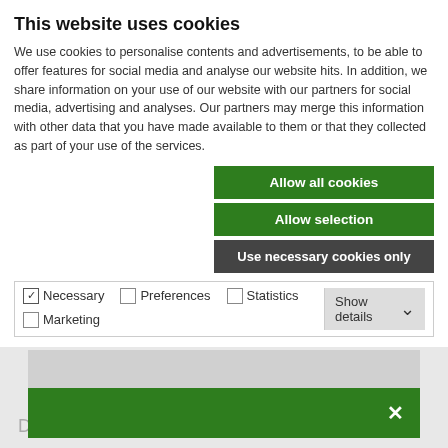This website uses cookies
We use cookies to personalise contents and advertisements, to be able to offer features for social media and analyse our website hits. In addition, we share information on your use of our website with our partners for social media, advertising and analyses. Our partners may merge this information with other data that you have made available to them or that they collected as part of your use of the services.
Allow all cookies
Allow selection
Use necessary cookies only
Necessary  Preferences  Statistics  Marketing  Show details
[Figure (screenshot): A partially visible modal/popup with a gray bar on top and a green bar below containing a white X close button]
Distributer